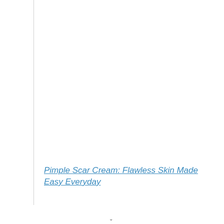Pimple Scar Cream: Flawless Skin Made Easy Everyday